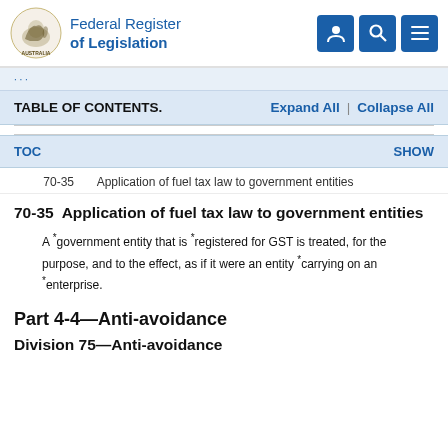Federal Register of Legislation
TABLE OF CONTENTS.    Expand All   |   Collapse All
TOC    SHOW
70-35    Application of fuel tax law to government entities
70-35  Application of fuel tax law to government entities
A *government entity that is *registered for GST is treated, for the purpose, and to the effect, as if it were an entity *carrying on an *enterprise.
Part 4-4—Anti-avoidance
Division 75—Anti-avoidance